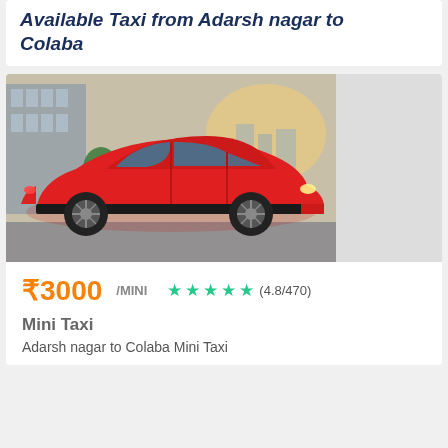Available Taxi from Adarsh nagar to Colaba
[Figure (photo): Side view of a red compact hatchback car (Hyundai i10 style) parked outdoors with a building and trees in the background]
₹3000 /MINI ★★★★★ (4.8/470)
Mini Taxi
Adarsh nagar to Colaba Mini Taxi